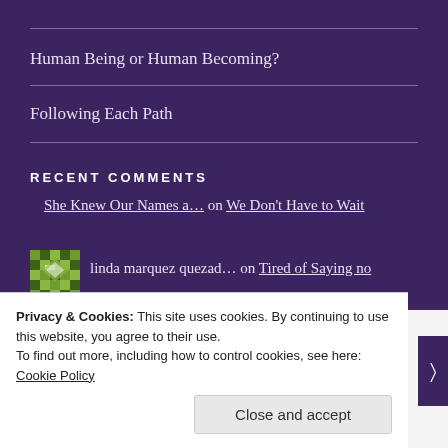Human Being or Human Becoming?
Following Each Path
RECENT COMMENTS
She Knew Our Names a… on We Don't Have to Wait
linda marquez quezad… on Tired of Saying no
Privacy & Cookies: This site uses cookies. By continuing to use this website, you agree to their use.
To find out more, including how to control cookies, see here: Cookie Policy
Close and accept